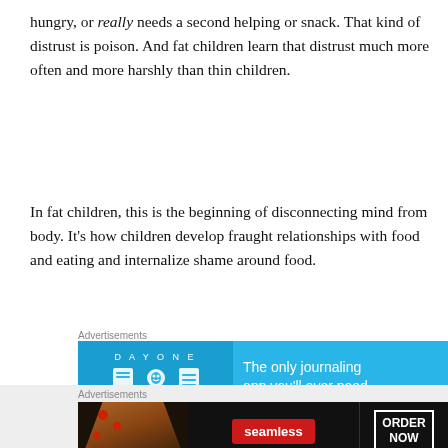hungry, or really needs a second helping or snack. That kind of distrust is poison. And fat children learn that distrust much more often and more harshly than thin children.
In fat children, this is the beginning of disconnecting mind from body. It’s how children develop fraught relationships with food and eating and internalize shame around food.
[Figure (other): Advertisement banner for Day One journaling app with blue background, app icons, and text 'The only journaling app you’ll ever need.']
[Figure (other): Advertisement banner for Seamless food delivery with pizza image, Seamless logo in red, and ORDER NOW button on dark background.]